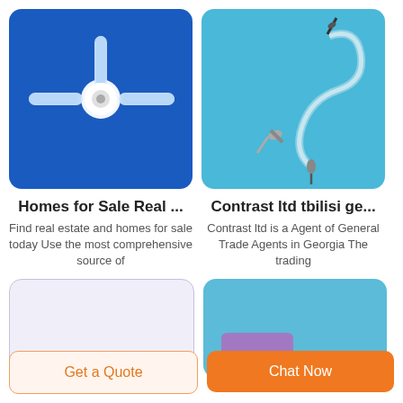[Figure (photo): Medical stopcock/three-way valve device on a blue background]
[Figure (photo): Medical IV infusion set tubing with needle on a light blue background]
Homes for Sale Real ...
Find real estate and homes for sale today Use the most comprehensive source of
Contrast ltd tbilisi ge...
Contrast ltd is a Agent of General Trade Agents in Georgia The trading
[Figure (photo): Light purple/lavender card thumbnail]
[Figure (photo): Blue card thumbnail with purple rectangular shape at bottom]